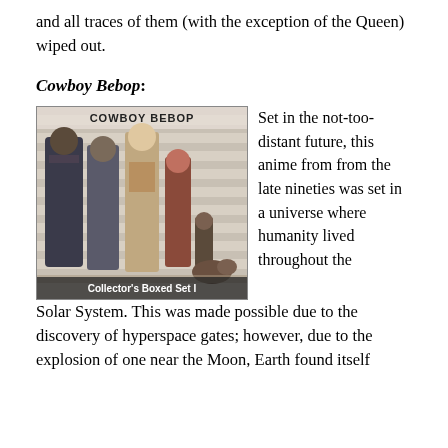and all traces of them (with the exception of the Queen) wiped out.
Cowboy Bebop:
[Figure (photo): DVD cover of Cowboy Bebop Collector's Boxed Set I showing anime characters standing in a lineup against a striped background. Text reads 'COWBOY BEBOP' at the top and 'Collector's Boxed Set I' at the bottom.]
Set in the not-too-distant future, this anime from from the late nineties was set in a universe where humanity lived throughout the Solar System. This was made possible due to the discovery of hyperspace gates; however, due to the explosion of one near the Moon, Earth found itself